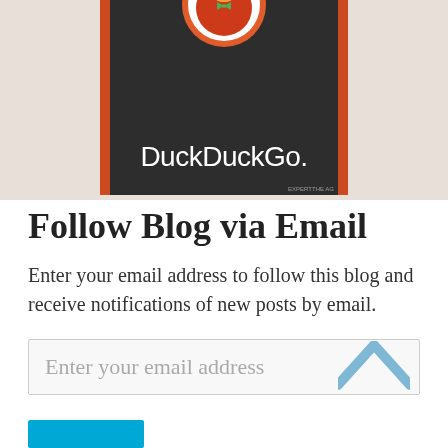[Figure (logo): DuckDuckGo logo on dark card with orange borders, showing duck mascot icon and DuckDuckGo. text in white]
Follow Blog via Email
Enter your email address to follow this blog and receive notifications of new posts by email.
Enter your email address